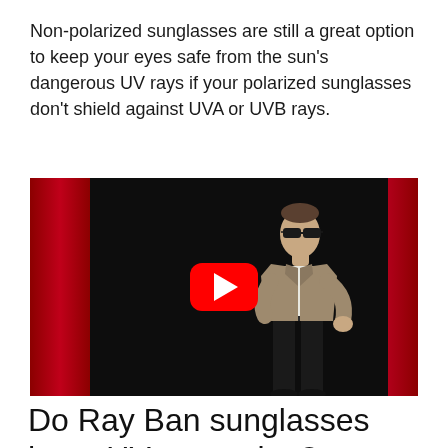Non-polarized sunglasses are still a great option to keep your eyes safe from the sun's dangerous UV rays if your polarized sunglasses don't shield against UVA or UVB rays.
[Figure (screenshot): YouTube video thumbnail showing a man in a blazer wearing sunglasses speaking on a dark stage with red curtains, with a YouTube play button overlay in the center.]
Do Ray Ban sunglasses have UV protection?